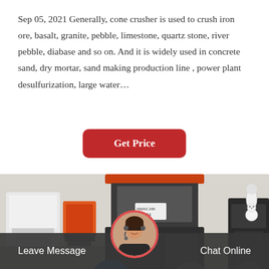Sep 05, 2021 Generally, cone crusher is used to crush iron ore, basalt, granite, pebble, limestone, quartz stone, river pebble, diabase and so on. And it is widely used in concrete sand, dry mortar, sand making production line , power plant desulfurization, large water…
[Figure (other): Red rounded rectangle button labeled 'Get Price' in white bold text on a dark red/crimson background]
[Figure (photo): Industrial setting showing multiple heavy mining/crushing machines including dark grey cone crushers and a blue electric motor, in a factory warehouse. One machine has an orange-rimmed hopper on top with a label reading '150704'.]
[Figure (photo): Customer service representative avatar — woman wearing headset, circular photo with red border, used as chat/contact button in page footer.]
Leave Message   Chat Online